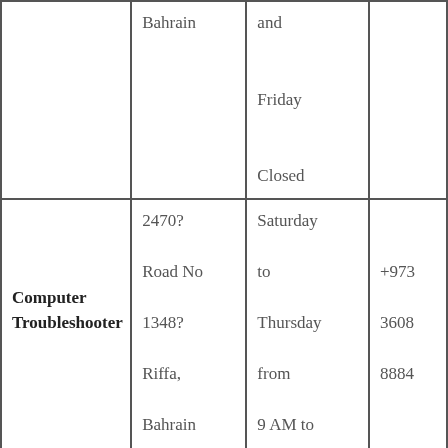| Business Name | Address | Hours | Phone |
| --- | --- | --- | --- |
|  | Bahrain | and

Friday

Closed |  |
| Computer Troubleshooter | 2470? Road No 1348? Riffa, Bahrain | Saturday to Thursday from 9 AM to 6 PM and Friday Closed | +973 3608 8884 |
|  | Exhibitions | Saturday to Thursday |  |